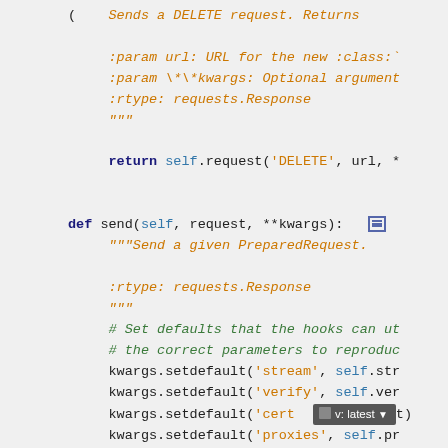Code snippet showing Python source code for a session class with delete and send methods, including docstrings, type hints, and implementation details with kwargs.setdefault calls.